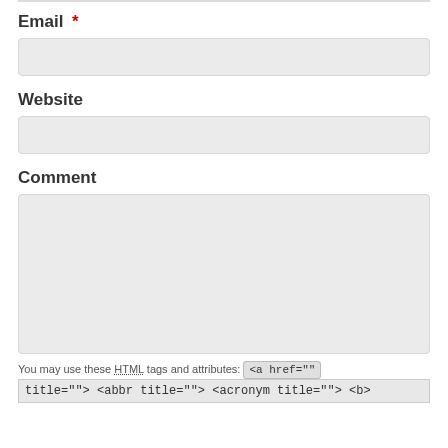Email *
Website
Comment
You may use these HTML tags and attributes: <a href="" title=""> <abbr title=""> <acronym title=""> <b>